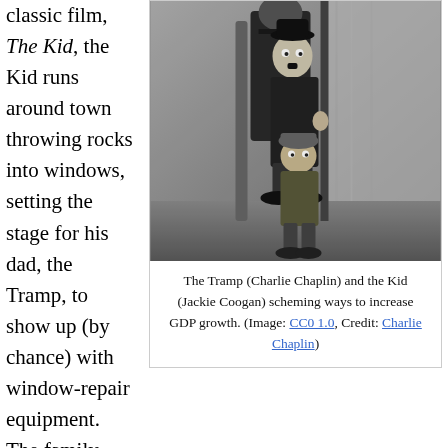classic film, The Kid, the Kid runs around town throwing rocks into windows, setting the stage for his dad, the Tramp, to show up (by chance) with window-repair equipment. The family business is based on destruction.
[Figure (photo): Black and white still from the 1921 film 'The Kid' showing Charlie Chaplin as the Tramp and Jackie Coogan as the Kid, peering around a corner of a building.]
The Tramp (Charlie Chaplin) and the Kid (Jackie Coogan) scheming ways to increase GDP growth. (Image: CC0 1.0, Credit: Charlie Chaplin)